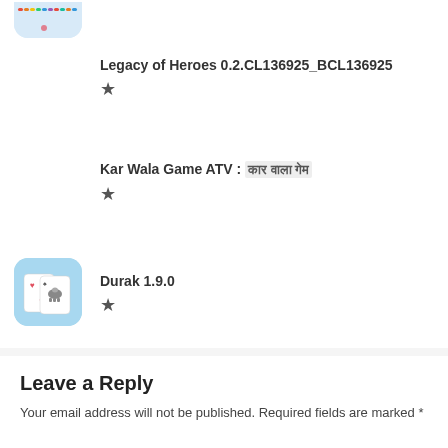[Figure (screenshot): Cropped app icon at top, showing colorful rainbow lines on light blue background]
Legacy of Heroes 0.2.CL136925_BCL136925
★
Kar Wala Game ATV : कार वाला गेम
★
[Figure (screenshot): Durak card game app icon: light blue rounded square with two playing cards (heart card and spade/turtle card)]
Durak 1.9.0
★
Leave a Reply
Your email address will not be published. Required fields are marked *